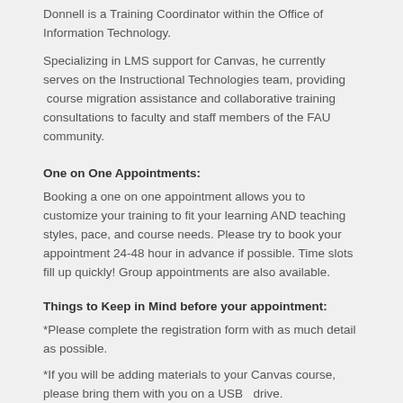Donnell is a Training Coordinator within the Office of Information Technology.
Specializing in LMS support for Canvas, he currently serves on the Instructional Technologies team, providing  course migration assistance and collaborative training consultations to faculty and staff members of the FAU community.
One on One Appointments:
Booking a one on one appointment allows you to customize your training to fit your learning AND teaching styles, pace, and course needs. Please try to book your appointment 24-48 hour in advance if possible. Time slots fill up quickly! Group appointments are also available.
Things to Keep in Mind before your appointment:
*Please complete the registration form with as much detail as possible.
*If you will be adding materials to your Canvas course, please bring them with you on a USB   drive.
*If you intend to work from your laptop, please make sure to bring it with you.